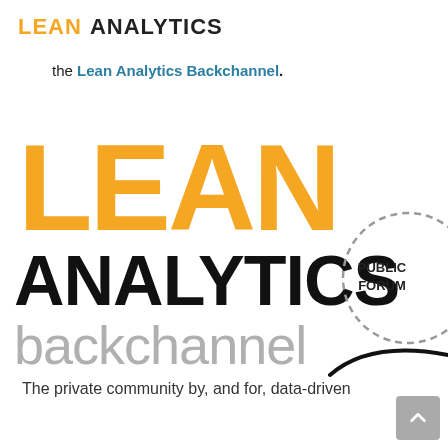LEAN ANALYTICS
the Lean Analytics Backchannel.
[Figure (logo): Lean Analytics Backchannel logo with large orange LEAN text, black ANALYTICS text, and gray backchannel text. A dashed circle labeled PUBLIC FORUM appears to the right, with a curved black line below it.]
The private community by, and for, data-driven